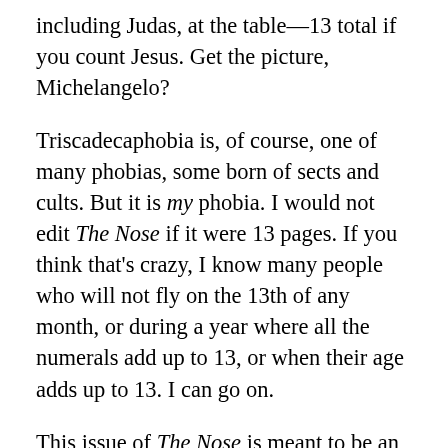including Judas, at the table—13 total if you count Jesus. Get the picture, Michelangelo?
Triscadecaphobia is, of course, one of many phobias, some born of sects and cults. But it is my phobia. I would not edit The Nose if it were 13 pages. If you think that's crazy, I know many people who will not fly on the 13th of any month, or during a year where all the numerals add up to 13, or when their age adds up to 13. I can go on.
This issue of The Nose is meant to be an antidote for anyone too obsessed with a cult or phobia. And as a form of therapy, I was told I should find another focus to subsume triscadecaphobia, if